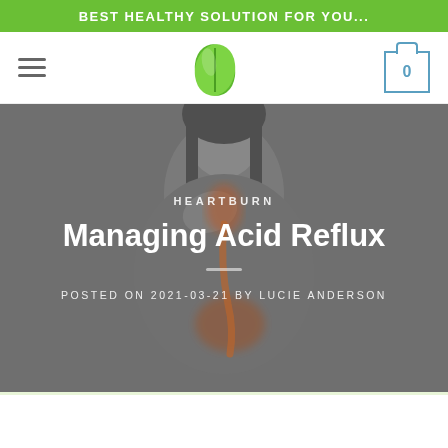BEST HEALTHY SOLUTION FOR YOU...
[Figure (logo): Green leaf/plant logo in the center of the navigation bar]
[Figure (photo): Grayscale photo of a woman holding her throat/chest with orange/red anatomical highlights showing acid reflux in the esophagus and stomach]
HEARTBURN
Managing Acid Reflux
POSTED ON 2021-03-21 BY LUCIE ANDERSON